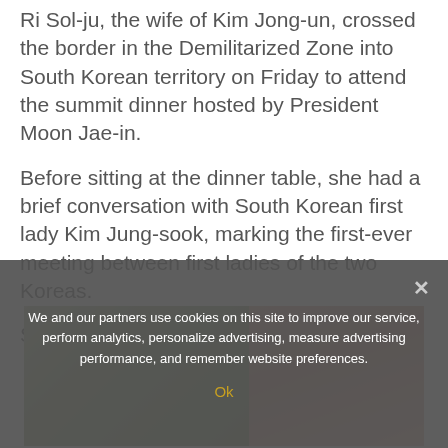Ri Sol-ju, the wife of Kim Jong-un, crossed the border in the Demilitarized Zone into South Korean territory on Friday to attend the summit dinner hosted by President Moon Jae-in.
Before sitting at the dinner table, she had a brief conversation with South Korean first lady Kim Jung-sook, marking the first-ever meeting between first ladies of the two Koreas.
Scroll down for video
[Figure (photo): Partially visible photograph showing blurred background with green/olive tones on the left and pink/peach tones on the right, partially obscured by cookie consent overlay]
We and our partners use cookies on this site to improve our service, perform analytics, personalize advertising, measure advertising performance, and remember website preferences.
Ok